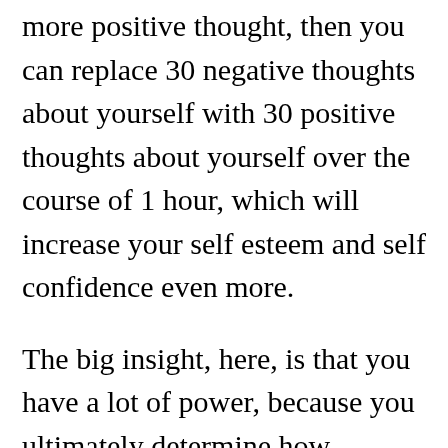more positive thought, then you can replace 30 negative thoughts about yourself with 30 positive thoughts about yourself over the course of 1 hour, which will increase your self esteem and self confidence even more.
The big insight, here, is that you have a lot of power, because you ultimately determine how quickly you increase your self esteem and self confidence by how quickly you